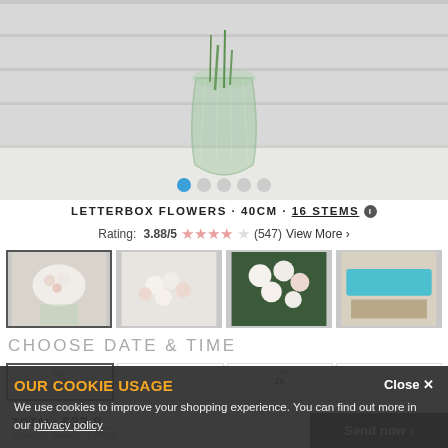[Figure (photo): Hero photo of white flowers in a glass vase on a white surface, with image carousel dots below showing 5 dots, first one active/blue]
LETTERBOX FLOWERS · 40CM · 16 STEMS ℹ
Rating: 3.88/5 ★★★★☆ (547) View More
[Figure (photo): Four thumbnail images: (1) white and pink flowers in glass vase - selected/bordered; (2) close up white and pink flower bouquet; (3) close-up white lilies and pink roses; (4) turquoise letterbox packaging with flowers]
CHOOSE DATE & TIME
[Figure (screenshot): Date picker row showing Sun, Mon (partially visible), Tue with date 26, and a gear icon cell]
OUR COOKIE USAGE
We use cookies to improve your shopping experience. You can find out more in our privacy policy
TOTAL: £32.8_
Standard delivery is FREE
Send now